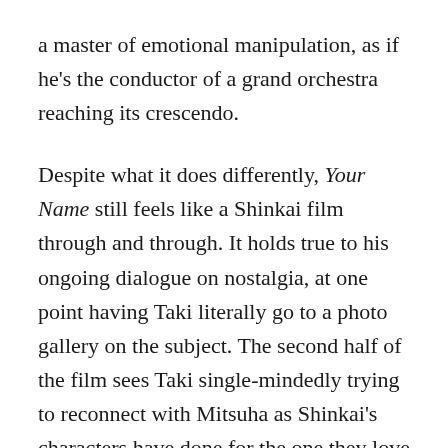a master of emotional manipulation, as if he's the conductor of a grand orchestra reaching its crescendo.

Despite what it does differently, Your Name still feels like a Shinkai film through and through. It holds true to his ongoing dialogue on nostalgia, at one point having Taki literally go to a photo gallery on the subject. The second half of the film sees Taki single-mindedly trying to reconnect with Mitsuha as Shinkai's characters have done for the one they love so many times in the past. Trains, a Shinkai mainstay, act as a visual metaphor for being swept up in the constant momentum of life, in this case something the characters rebel against by traveling on foot to find each other. The list goes on but the point is this: as enjoyable as Your Name is, it's the last time